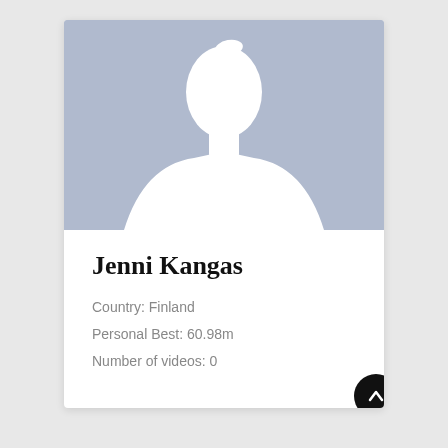[Figure (illustration): Default avatar placeholder image with blue-grey background and white silhouette of a person (head and shoulders)]
Jenni Kangas
Country: Finland
Personal Best: 60.98m
Number of videos: 0